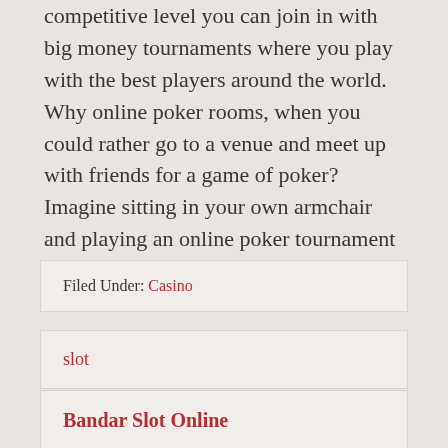competitive level you can join in with big money tournaments where you play with the best players around the world. Why online poker rooms, when you could rather go to a venue and meet up with friends for a game of poker? Imagine sitting in your own armchair and playing an online poker tournament with the greats all over the world.
Filed Under: Casino
slot
Bandar Slot Online